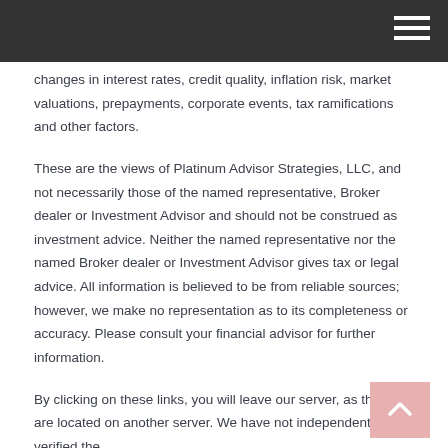changes in interest rates, credit quality, inflation risk, market valuations, prepayments, corporate events, tax ramifications and other factors.
These are the views of Platinum Advisor Strategies, LLC, and not necessarily those of the named representative, Broker dealer or Investment Advisor and should not be construed as investment advice. Neither the named representative nor the named Broker dealer or Investment Advisor gives tax or legal advice. All information is believed to be from reliable sources; however, we make no representation as to its completeness or accuracy. Please consult your financial advisor for further information.
By clicking on these links, you will leave our server, as the links are located on another server. We have not independently verified the